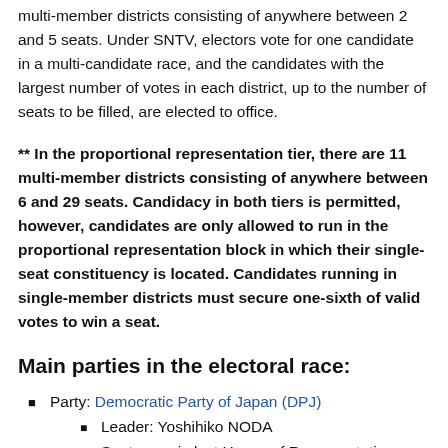multi-member districts consisting of anywhere between 2 and 5 seats. Under SNTV, electors vote for one candidate in a multi-candidate race, and the candidates with the largest number of votes in each district, up to the number of seats to be filled, are elected to office.
** In the proportional representation tier, there are 11 multi-member districts consisting of anywhere between 6 and 29 seats. Candidacy in both tiers is permitted, however, candidates are only allowed to run in the proportional representation block in which their single-seat constituency is located. Candidates running in single-member districts must secure one-sixth of valid votes to win a seat.
Main parties in the electoral race:
Party: Democratic Party of Japan (DPJ)
Leader: Yoshihiko NODA
Seats won in last House of Representatives election: 231